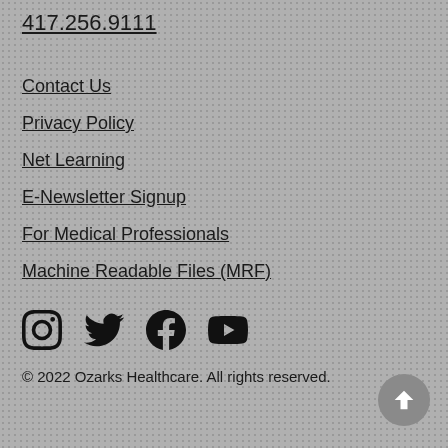417.256.9111
Contact Us
Privacy Policy
Net Learning
E-Newsletter Signup
For Medical Professionals
Machine Readable Files (MRF)
[Figure (other): Social media icons: Instagram, Twitter, Facebook, YouTube]
© 2022 Ozarks Healthcare. All rights reserved.